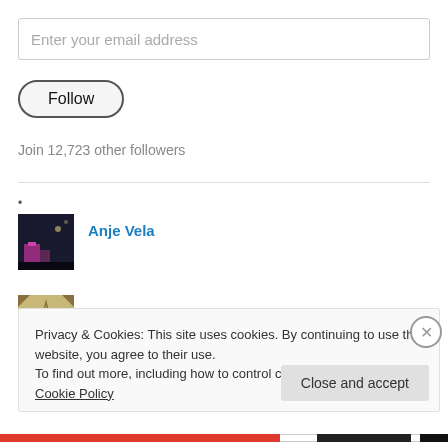Enter your email address
Follow
Join 12,723 other followers
•
[Figure (photo): Profile photo of Anje Vela - dark night scene]
Anje Vela
[Figure (illustration): All About Travel logo - geometric star/diamond pattern in gold/tan]
All About Travel
Privacy & Cookies: This site uses cookies. By continuing to use this website, you agree to their use.
To find out more, including how to control cookies, see here: Cookie Policy
Close and accept